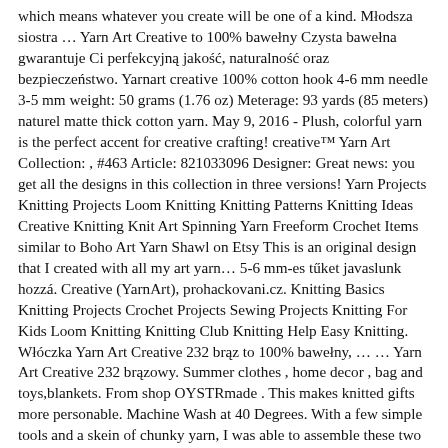which means whatever you create will be one of a kind. Młodsza siostra … Yarn Art Creative to 100% bawełny Czysta bawełna gwarantuje Ci perfekcyjną jakość, naturalność oraz bezpieczeństwo. Yarnart creative 100% cotton hook 4-6 mm needle 3-5 mm weight: 50 grams (1.76 oz) Meterage: 93 yards (85 meters) naturel matte thick cotton yarn. May 9, 2016 - Plush, colorful yarn is the perfect accent for creative crafting! creative™ Yarn Art Collection: , #463 Article: 821033096 Designer: Great news: you get all the designs in this collection in three versions! Yarn Projects Knitting Projects Loom Knitting Knitting Patterns Knitting Ideas Creative Knitting Knit Art Spinning Yarn Freeform Crochet Items similar to Boho Art Yarn Shawl on Etsy This is an original design that I created with all my art yarn… 5-6 mm-es tűket javaslunk hozzá. Creative (YarnArt), prohackovani.cz. Knitting Basics Knitting Projects Crochet Projects Sewing Projects Knitting For Kids Loom Knitting Knitting Club Knitting Help Easy Knitting. Włóczka Yarn Art Creative 232 brąz to 100% bawełny, … … Yarn Art Creative 232 brązowy. Summer clothes , home decor , bag and toys,blankets. From shop OYSTRmade . This makes knitted gifts more personable. Machine Wash at 40 Degrees. With a few simple tools and a skein of chunky yarn, I was able to assemble these two adorable trees! This is Digital items ready for immediate download. Enjoy!! The Trinity Mandala MAL is a free pattern by Esther of It's All in a Nutshell, and it's perfect to finish in those stolen crochet moments. Styrofoam balls can be turned into decorative accents by wrapping yarn around them, gluing as you